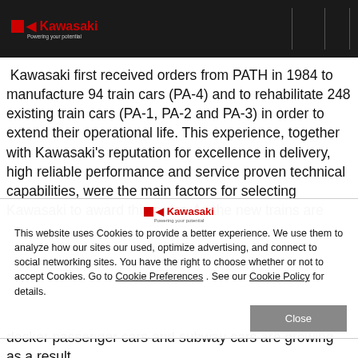Kawasaki — Powering your potential
Kawasaki first received orders from PATH in 1984 to manufacture 94 train cars (PA-4) and to rehabilitate 248 existing train cars (PA-1, PA-2 and PA-3) in order to extend their operational life. This experience, together with Kawasaki's reputation for excellence in delivery, high reliable performance and service proven technical capabilities, were the main factors for selecting Kawasaki to award this order. As the new trains are
[Figure (logo): Kawasaki logo — red square with arrow and 'Kawasaki' text in red, with tagline 'Powering your potential' in gray below]
This website uses Cookies to provide a better experience. We use them to analyze how our sites our used, optimize advertising, and connect to social networking sites. You have the right to choose whether or not to accept Cookies. Go to Cookie Preferences . See our Cookie Policy for details.
docker passenger cars and subway cars are growing as a result